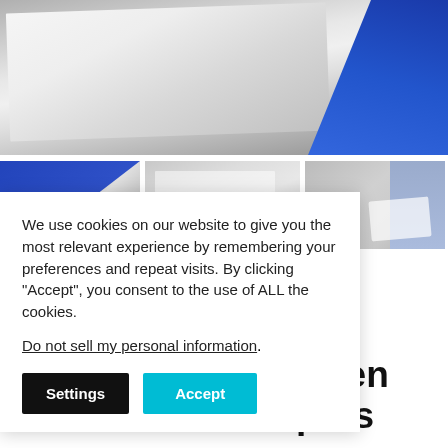[Figure (photo): Main product image showing white nonwoven fabric/wiper cloth being handled, with blue gloved hand visible in top right corner]
[Figure (photo): Three thumbnail images: (1) hand in blue gloves handling white cloth, (2) white cloth on surface, (3) white wiper cloth being held]
We use cookies on our website to give you the most relevant experience by remembering your preferences and repeat visits. By clicking “Accept”, you consent to the use of ALL the cookies.
Do not sell my personal information.
Settings
Accept
nwoven
Vipers
Synthetic Nonwoven 100% Polyester